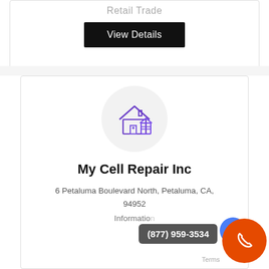Retail Trade
View Details
[Figure (illustration): Purple/blue icon of a house/store building inside a light gray circle]
My Cell Repair Inc
6 Petaluma Boulevard North, Petaluma, CA, 94952
Informatio…
(877) 959-3534